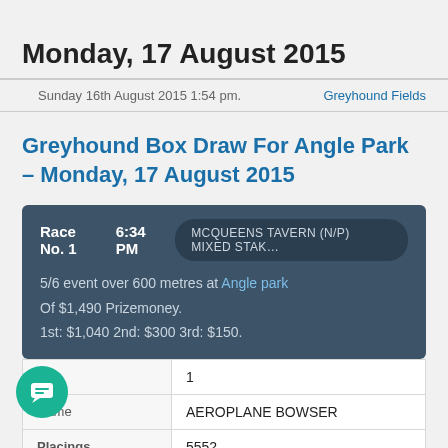Monday, 17 August 2015
Sunday 16th August 2015 1:54 pm.    Greyhound Fields
Greyhound Box Draw For Angle Park – Monday, 17 August 2015
Race No. 1   6:34 PM   MCQUEENS TAVERN (N/P) MIXED STAK…
5/6 event over 600 metres at Angle park
Of $1,490 Prizemoney.
1st: $1,040 2nd: $300 3rd: $150.
|  |  |
| --- | --- |
| No. | 1 |
| Name | AEROPLANE BOWSER |
| Placings | 5552 |